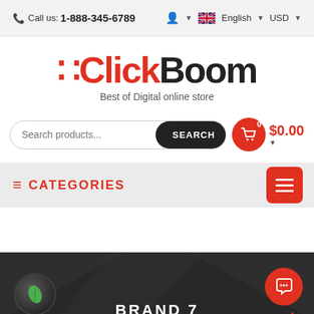Call us: 1-888-345-6789  English  USD
[Figure (logo): ClickBoom logo with red dots and tagline 'Best of Digital online store']
Search products...  SEARCH  0  $0.00
CATEGORIES
BRAND 7